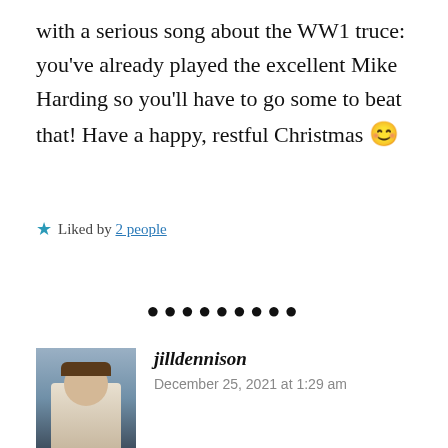with a serious song about the WW1 truce: you've already played the excellent Mike Harding so you'll have to go some to beat that! Have a happy, restful Christmas 😊
★ Liked by 2 people
•••••••••
jilldennison
December 25, 2021 at 1:29 am
A serious song about the WWI truce? I don't think I knew there was one … point me in the right direction, please? Given that it's already Christmas